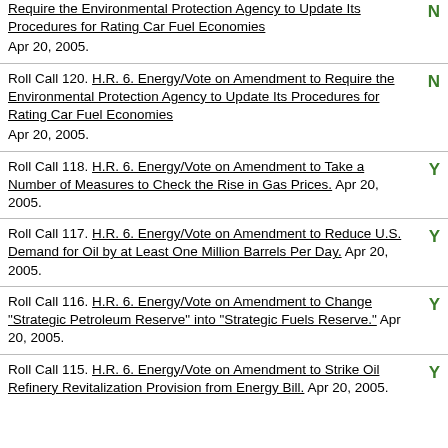Require the Environmental Protection Agency to Update Its Procedures for Rating Car Fuel Economies. Apr 20, 2005. Vote: N
Roll Call 120. H.R. 6. Energy/Vote on Amendment to Require the Environmental Protection Agency to Update Its Procedures for Rating Car Fuel Economies. Apr 20, 2005. Vote: N
Roll Call 118. H.R. 6. Energy/Vote on Amendment to Take a Number of Measures to Check the Rise in Gas Prices. Apr 20, 2005. Vote: Y
Roll Call 117. H.R. 6. Energy/Vote on Amendment to Reduce U.S. Demand for Oil by at Least One Million Barrels Per Day. Apr 20, 2005. Vote: Y
Roll Call 116. H.R. 6. Energy/Vote on Amendment to Change "Strategic Petroleum Reserve" into "Strategic Fuels Reserve." Apr 20, 2005. Vote: Y
Roll Call 115. H.R. 6. Energy/Vote on Amendment to Strike Oil Refinery Revitalization Provision from Energy Bill. Apr 20, 2005. Vote: Y